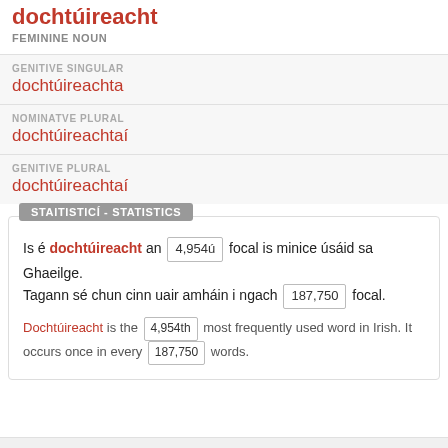dochtúireacht
FEMININE NOUN
GENITIVE SINGULAR
dochtúireachta
NOMINATVE PLURAL
dochtúireachtaí
GENITIVE PLURAL
dochtúireachtaí
STAITISTICÍ - STATISTICS
Is é dochtúireacht an 4,954ú focal is minice úsáid sa Ghaeilge. Tagann sé chun cinn uair amháin i ngach 187,750 focal.
Dochtúireacht is the 4,954th most frequently used word in Irish. It occurs once in every 187,750 words.